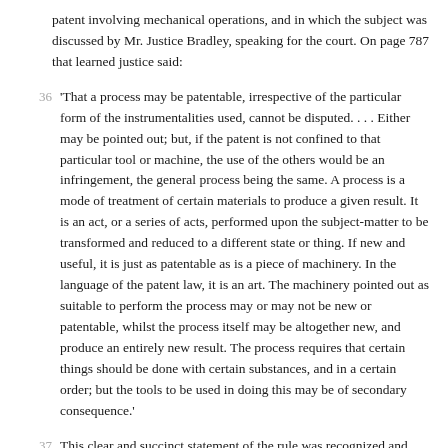patent involving mechanical operations, and in which the subject was discussed by Mr. Justice Bradley, speaking for the court. On page 787 that learned justice said:
'That a process may be patentable, irrespective of the particular form of the instrumentalities used, cannot be disputed. . . . Either may be pointed out; but, if the patent is not confined to that particular tool or machine, the use of the others would be an infringement, the general process being the same. A process is a mode of treatment of certain materials to produce a given result. It is an act, or a series of acts, performed upon the subject-matter to be transformed and reduced to a different state or thing. If new and useful, it is just as patentable as is a piece of machinery. In the language of the patent law, it is an art. The machinery pointed out as suitable to perform the process may or may not be new or patentable, whilst the process itself may be altogether new, and produce an entirely new result. The process requires that certain things should be done with certain substances, and in a certain order; but the tools to be used in doing this may be of secondary consequence.'
This clear and succinct statement of the rule was recognized and applied (Mr. Justice Bradley again speaking for the court) in the case of Tilghman v. Proctor, 102 U. S. 707, 26 L. ed. 279. In the same